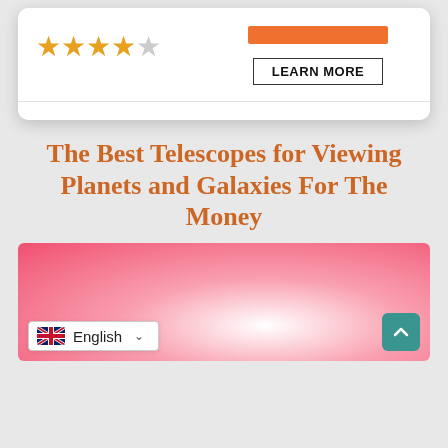[Figure (screenshot): Star rating widget showing 4 out of 5 orange stars]
[Figure (screenshot): Orange bar and LEARN MORE button]
The Best Telescopes for Viewing Planets and Galaxies For The Money
[Figure (illustration): Pink radial gradient background image with teal scroll-to-top button and English language selector overlay]